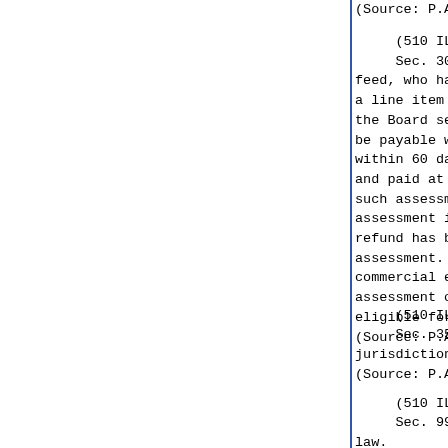(Source: P.A. 93-135, eff. 7-10-0
(510 ILCS 67/30)
    Sec. 30. Refunds. The final
feed, who has a dated receipt dis
a line item to the sale price, ma
the Board secure a refund in the
be payable when the application
within 60 days after the assessm
and paid at the rate of 5% per
such assessment imposed by thi
assessment is refunded within 90
refund has been made within
assessment. Each application fo
commercial equine feed shall ha
assessment charged. A purchaser
eligible for any benefits provide
(Source: P.A. 93-135, eff. 7-10-0
(510 ILCS 67/35)
    Sec. 35. Compliance. The cir
jurisdiction specifically to enfo
(Source: P.A. 93-135, eff. 7-10-0
(510 ILCS 67/99)
    Sec. 99. Effective date. This
law.
(Source: P.A. 93-135, eff. 7-10-0